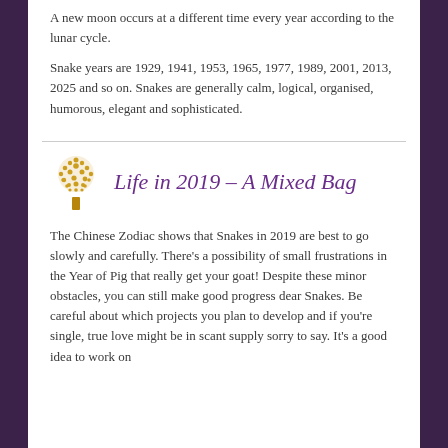A new moon occurs at a different time every year according to the lunar cycle.
Snake years are 1929, 1941, 1953, 1965, 1977, 1989, 2001, 2013, 2025 and so on. Snakes are generally calm, logical, organised, humorous, elegant and sophisticated.
Life in 2019 – A Mixed Bag
The Chinese Zodiac shows that Snakes in 2019 are best to go slowly and carefully. There's a possibility of small frustrations in the Year of Pig that really get your goat! Despite these minor obstacles, you can still make good progress dear Snakes. Be careful about which projects you plan to develop and if you're single, true love might be in scant supply sorry to say. It's a good idea to work on